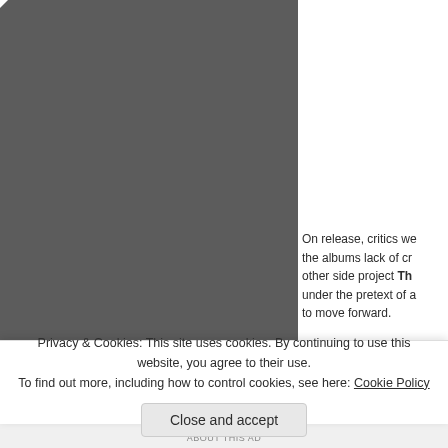[Figure (photo): Large dark gray/charcoal photograph occupying the left two-thirds of the upper portion of the page]
On release, critics we… the albums lack of cr… other side project Th… under the pretext of a… to move forward.
Privacy & Cookies: This site uses cookies. By continuing to use this website, you agree to their use.
To find out more, including how to control cookies, see here: Cookie Policy
Close and accept
ABOUT THIS AD